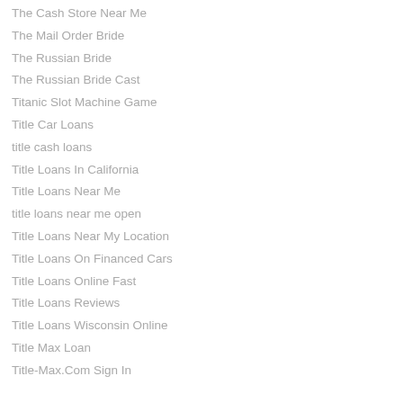The Cash Store Near Me
The Mail Order Bride
The Russian Bride
The Russian Bride Cast
Titanic Slot Machine Game
Title Car Loans
title cash loans
Title Loans In California
Title Loans Near Me
title loans near me open
Title Loans Near My Location
Title Loans On Financed Cars
Title Loans Online Fast
Title Loans Reviews
Title Loans Wisconsin Online
Title Max Loan
Title-Max.Com Sign In